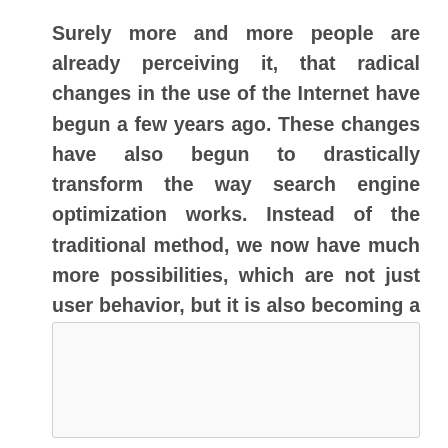Surely more and more people are already perceiving it, that radical changes in the use of the Internet have begun a few years ago. These changes have also begun to drastically transform the way search engine optimization works. Instead of the traditional method, we now have much more possibilities, which are not just user behavior, but it is also becoming a little different due to changes in search engines.
[Figure (other): Empty box / placeholder rectangle at the bottom of the page]